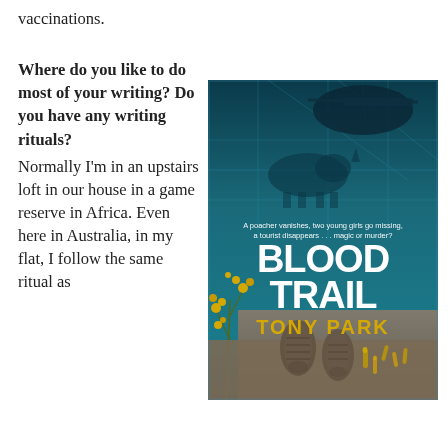vaccinations.
Where do you like to do most of your writing? Do you have any writing rituals? Normally I'm in an upstairs loft in our house in a game reserve in Africa. Even here in Australia, in my flat, I follow the same ritual as
[Figure (illustration): Book cover for 'Blood Trail' by Tony Park. Dark teal/blue background with an aerial or satellite view imagery. Text reads: 'A poacher vanishes, two young girls go missing, a tourist disappears ... magic or murder?' Title 'BLOOD TRAIL' in large white letters, author 'TONY PARK' in yellow letters. Bottom shows bullet casings and shoe prints in sandy ground, with yellow wattle flowers on the side.]